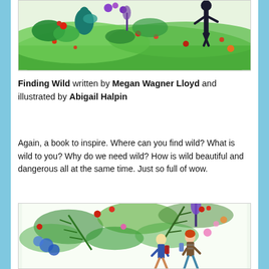[Figure (illustration): Colorful illustration from 'Finding Wild' showing lush green garden/wild scene with flowers, birds, and a figure with dark hair in a green meadow]
Finding Wild written by Megan Wagner Lloyd and illustrated by Abigail Halpin
Again, a book to inspire. Where can you find wild? What is wild to you? Why do we need wild? How is wild beautiful and dangerous all at the same time. Just so full of wow.
[Figure (illustration): Colorful illustration from 'Finding Wild' showing two children walking through lush botanical scene with large leaves, colorful flowers in blues, reds, pinks and purples]